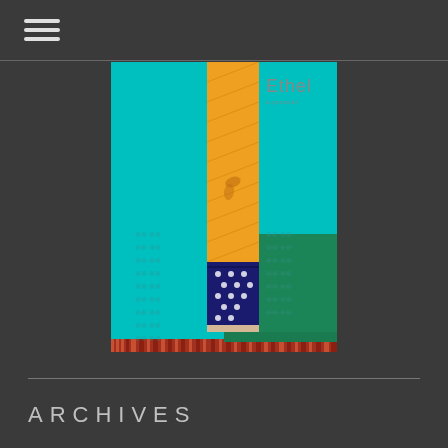[Figure (photo): Book cover of 'Ethel' featuring a teal/turquoise background with colorful fabric pattern strips — yellow/orange patterned strip in center, navy blue with dots section, green triangular section, and a decorative border strip at bottom. Tiled asterisk-like pattern watermarks in background. Title 'Ethel' in light gray text upper right.]
ARCHIVES